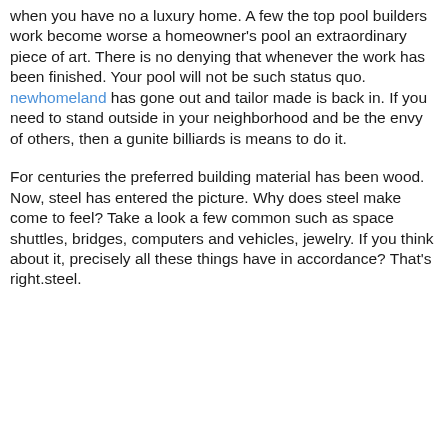when you have no a luxury home. A few the top pool builders work become worse a homeowner's pool an extraordinary piece of art. There is no denying that whenever the work has been finished. Your pool will not be such status quo. newhomeland has gone out and tailor made is back in. If you need to stand outside in your neighborhood and be the envy of others, then a gunite billiards is means to do it.
For centuries the preferred building material has been wood. Now, steel has entered the picture. Why does steel make come to feel? Take a look a few common such as space shuttles, bridges, computers and vehicles, jewelry. If you think about it, precisely all these things have in accordance? That's right.steel.